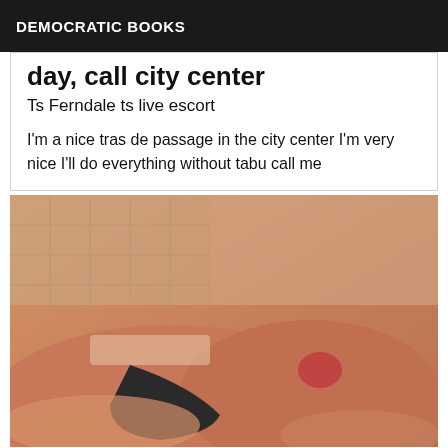DEMOCRATIC BOOKS
day, call city center
Ts Ferndale ts live escort
I'm a nice tras de passage in the city center I'm very nice I'll do everything without tabu call me
[Figure (photo): A close-up photograph with warm orange/pink tones showing a body in a bathroom setting with tiled walls visible in the background.]